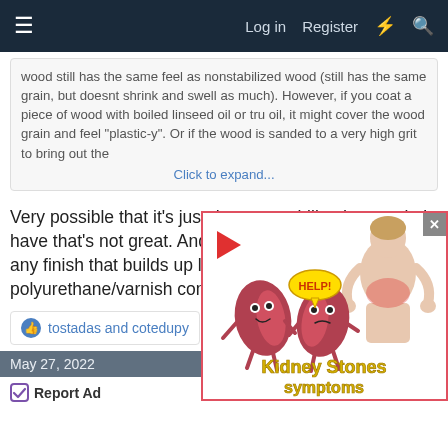≡   Log in   Register   ⚡   🔍
wood still has the same feel as nonstabilized wood (still has the same grain, but doesnt shrink and swell as much). However, if you coat a piece of wood with boiled linseed oil or tru oil, it might cover the wood grain and feel "plastic-y". Or if the wood is sanded to a very high grit to bring out the Click to expand...
Very possible that it's just the one stabilized example I have that's not great. And you're definitely right that any finish that builds up like BLO or polyurethane/varnish combos will have a plastic feel.
tostadas and cotedupy
May 27, 2022
Report Ad
[Figure (illustration): Advertisement for Kidney Stones symptoms. Shows two cartoon kidney characters with 'HELP!' text, a person touching their back with red pain highlighted, a red play button triangle, and bold yellow text reading 'Kidney Stones symptoms'. Red border around ad, with X close button.]